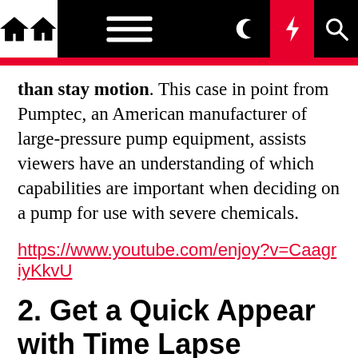Navigation bar with home, menu, moon, bolt, and search icons
than stay motion. This case in point from Pumptec, an American manufacturer of large-pressure pump equipment, assists viewers have an understanding of which capabilities are important when deciding on a pump for use with severe chemicals.
https://www.youtube.com/enjoy?v=CaagriyKkvU
2. Get a Quick Appear with Time Lapse
Showcase new design, the existence of a product, the abilities of a new equipment, even the targeted traffic at a trade demonstrate party! Time lapse films can offer a fast perception into hours, times, weeks, months, or even several years of